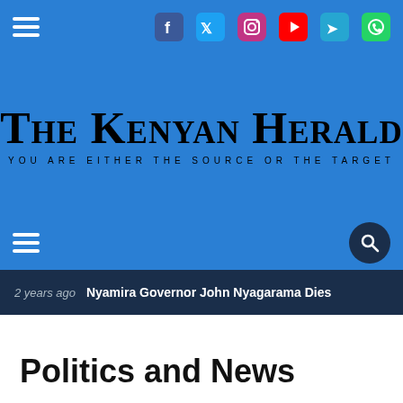The Kenyan Herald — YOU ARE EITHER THE SOURCE OR THE TARGET
2 years ago  Nyamira Governor John Nyagarama Dies
Politics and News